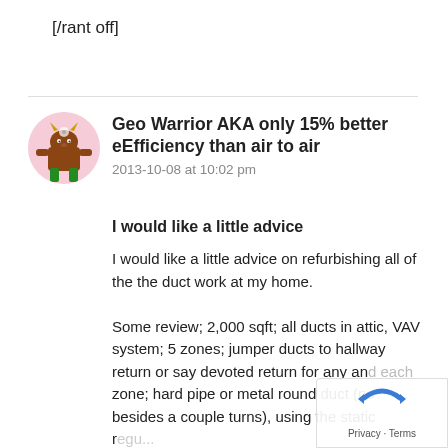[/rant off]
Geo Warrior AKA only 15% better eEfficiency than air to air
2013-10-08 at 10:02 pm
I would like a little advice
I would like a little advice on refurbishing all of the the duct work at my home.

Some review; 2,000 sqft; all ducts in attic, VAV system; 5 zones; jumper ducts to hallway return or say devoted return for any and each zone; hard pipe or metal round duct (no besides a couple turns), using the static r...